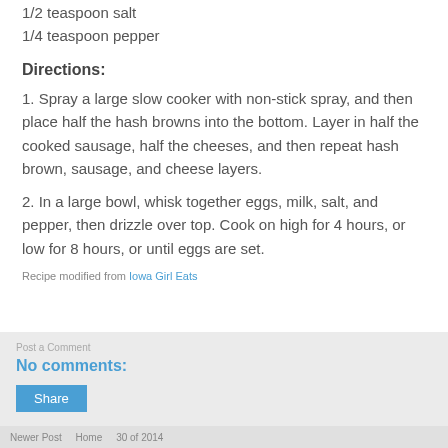1/2 teaspoon salt
1/4 teaspoon pepper
Directions:
1. Spray a large slow cooker with non-stick spray, and then place half the hash browns into the bottom. Layer in half the cooked sausage, half the cheeses, and then repeat hash brown, sausage, and cheese layers.
2. In a large bowl, whisk together eggs, milk, salt, and pepper, then drizzle over top. Cook on high for 4 hours, or low for 8 hours, or until eggs are set.
Recipe modified from Iowa Girl Eats
No comments:
Share